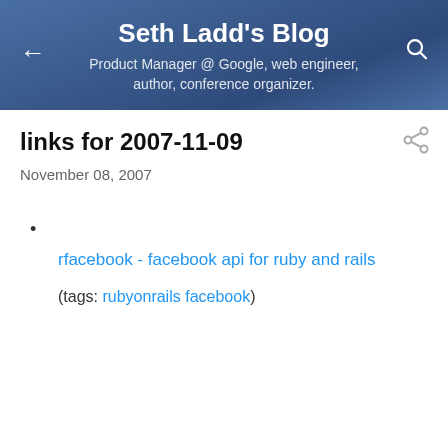Seth Ladd's Blog
Product Manager @ Google, web engineer, author, conference organizer.
links for 2007-11-09
November 08, 2007
rfacebook - facebook api for ruby and rails
(tags: rubyonrails facebook)